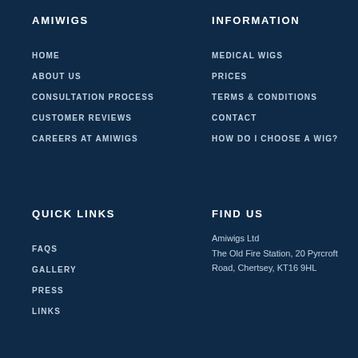AMIWIGS
HOME
ABOUT US
CONSULTATION PROCESS
CUSTOMER REVIEWS
CAREERS AT AMIWIGS
INFORMATION
MEDICAL WIGS
PRICES
TERMS & CONDITIONS
CONTACT
HOW DO I CHOOSE A WIG?
QUICK LINKS
FAQS
GALLERY
PRESS
LINKS
FIND US
Amiwigs Ltd
The Old Fire Station, 20 Pyrcroft Road, Chertsey, KT16 9HL